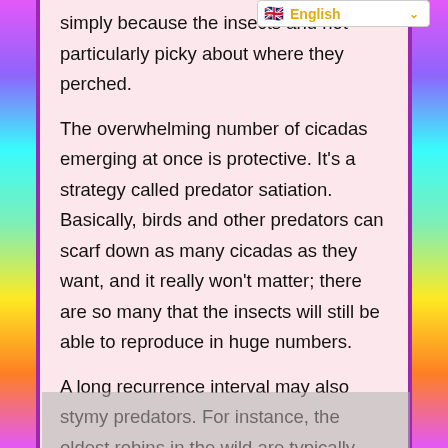English
simply because the insects and not particularly picky about where they perched.
The overwhelming number of cicadas emerging at once is protective. It's a strategy called predator satiation. Basically, birds and other predators can scarf down as many cicadas as they want, and it really won't matter; there are so many that the insects will still be able to reproduce in huge numbers.
A long recurrence interval may also stymy predators. For instance, the oldest robins in the wild are typically around 5 or 6 years old. That means that a 17-year cicada emergence is